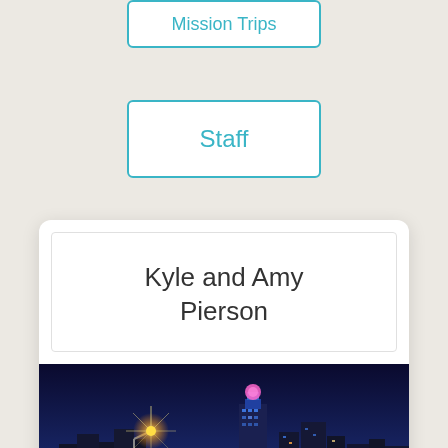Mission Trips
Staff
Kyle and Amy Pierson
[Figure (photo): Nighttime city skyline photo showing a lit urban skyline with a highway curving in the foreground with light trails, and a bright streetlight star burst on the left side.]